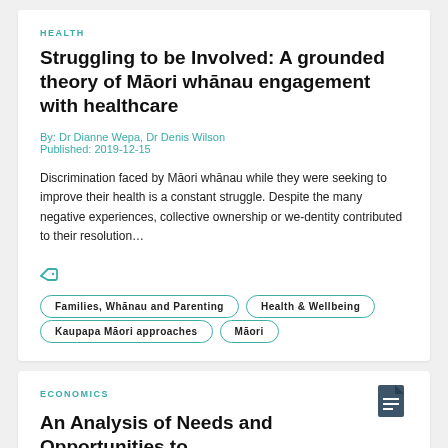HEALTH
Struggling to be Involved: A grounded theory of Māori whānau engagement with healthcare
By: Dr Dianne Wepa, Dr Denis Wilson
Published: 2019-12-15
Discrimination faced by Māori whānau while they were seeking to improve their health is a constant struggle. Despite the many negative experiences, collective ownership or we-dentity contributed to their resolution…
Families, Whānau and Parenting
Health & Wellbeing
Kaupapa Māori approaches
Māori
ECONOMICS
An Analysis of Needs and Opportunities to